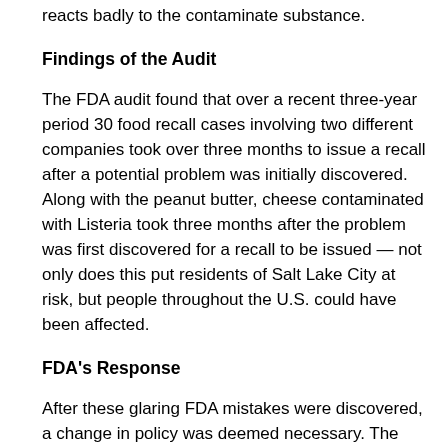reacts badly to the contaminate substance.
Findings of the Audit
The FDA audit found that over a recent three-year period 30 food recall cases involving two different companies took over three months to issue a recall after a potential problem was initially discovered. Along with the peanut butter, cheese contaminated with Listeria took three months after the problem was first discovered for a recall to be issued — not only does this put residents of Salt Lake City at risk, but people throughout the U.S. could have been affected.
FDA's Response
After these glaring FDA mistakes were discovered, a change in policy was deemed necessary. The FDA argued that those two cases do not represent the recall system, and that almost every recall has a response time of less than a week. The FDA also said that it is working on improving the system in order to speed up all recalls.
Free Initial Consultation with Motorcycle